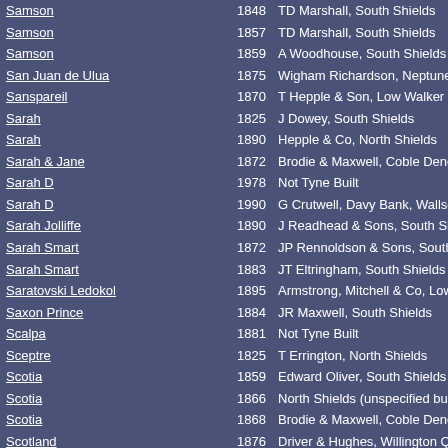| Name | Year | Builder |
| --- | --- | --- |
| Samson | 1848 | TD Marshall, South Shields |
| Samson | 1857 | TD Marshall, South Shields |
| Samson | 1859 | A Woodhouse, South Shields |
| San Juan de Ulua | 1875 | Wigham Richardson, Neptune |
| Sanspareil | 1870 | T Hepple & Son, Low Walker |
| Sarah | 1825 | J Dowey, South Shields |
| Sarah | 1890 | Hepple & Co, North Shields |
| Sarah & Jane | 1872 | Brodie & Maxwell, Coble Dene, |
| Sarah D | 1978 | Not Tyne Built |
| Sarah D | 1990 | G Crutwell, Davy Bank, Wallse |
| Sarah Jolliffe | 1890 | J Readhead & Sons, South Shi |
| Sarah Smart | 1872 | JP Rennoldson & Sons, South |
| Sarah Smart | 1883 | JT Eltringham, South Shields |
| Saratovski Ledokol | 1895 | Armstrong, Mitchell & Co, Low |
| Saxon Prince | 1884 | JR Maxwell, South Shields |
| Scalpa | 1881 | Not Tyne Built |
| Sceptre | 1825 | T Errington, North Shields |
| Scotia | 1859 | Edward Oliver, South Shields |
| Scotia | 1866 | North Shields (unspecified build |
| Scotia | 1868 | Brodie & Maxwell, Coble Dene, |
| Scotland | 1876 | Driver & Hughes, Willington Qu |
| Scotland | 1877 | Driver & Hughes, Willington Qu |
| Scotsman | 1894 | JP Rennoldson & Sons, South |
| Scotsman | 1899 | JP Rennoldson & Sons, South |